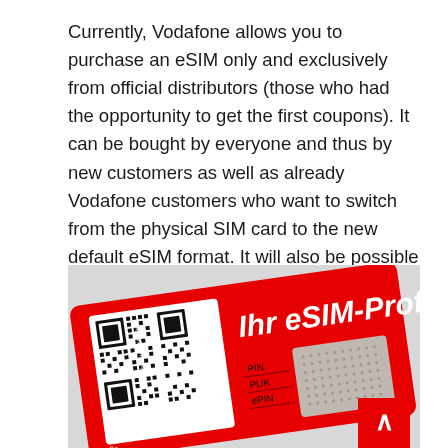Currently, Vodafone allows you to purchase an eSIM only and exclusively from official distributors (those who had the opportunity to get the first coupons). It can be bought by everyone and thus by new customers as well as already Vodafone customers who want to switch from the physical SIM card to the new default eSIM format. It will also be possible to purchase it online but this is in the coming days.
[Figure (photo): Photo of a red Vodafone eSIM card/sleeve with 'Ihr eSIM-Profil' printed in white bold italic text, a QR code labeled 'Aktivierungscode' on the left, and fields for PIN, PUK, ePIN on the right, along with a partially visible chip card area.]